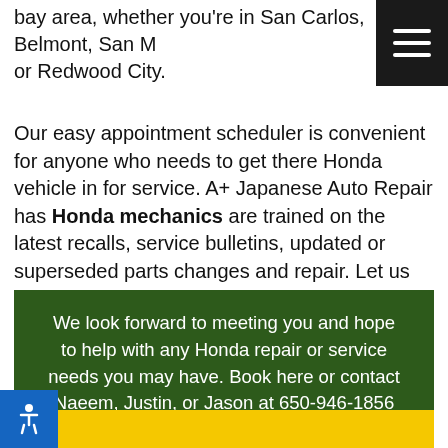bay area, whether you're in San Carlos, Belmont, San M... or Redwood City.
Our easy appointment scheduler is convenient for anyone who needs to get there Honda vehicle in for service. A+ Japanese Auto Repair has Honda mechanics are trained on the latest recalls, service bulletins, updated or superseded parts changes and repair. Let us help you with your Honda repair needs today. Book now!
We look forward to meeting you and hope to help with any Honda repair or service needs you may have. Book here or contact Naeem, Justin, or Jason at 650-946-1856